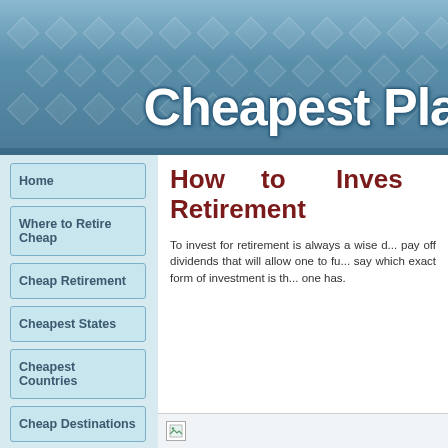Cheapest Pla
Home
Where to Retire Cheap
Cheap Retirement
Cheapest States
Cheapest Countries
Cheap Destinations
How to Invest for Retirement
To invest for retirement is always a wise d... pay off dividends that will allow one to fu... say which exact form of investment is th... one has.
[Figure (photo): Image placeholder at the bottom of the article content area]